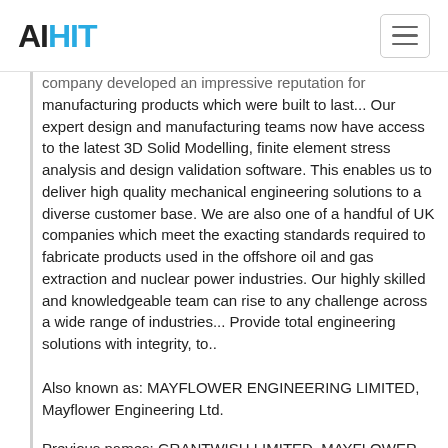AIHIT
company developed an impressive reputation for manufacturing products which were built to last... Our expert design and manufacturing teams now have access to the latest 3D Solid Modelling, finite element stress analysis and design validation software. This enables us to deliver high quality mechanical engineering solutions to a diverse customer base. We are also one of a handful of UK companies which meet the exacting standards required to fabricate products used in the offshore oil and gas extraction and nuclear power industries. Our highly skilled and knowledgeable team can rise to any challenge across a wide range of industries... Provide total engineering solutions with integrity, to..
Also known as: MAYFLOWER ENGINEERING LIMITED, Mayflower Engineering Ltd.
Previous names: GRANTWISH LIMITED, MAYFLOWER ENGINEERING HOLDINGS LIMITED
Registration numbers: 06503518 (CH), 6503518 (W)
Primary location: Sheffield, United Kingdom